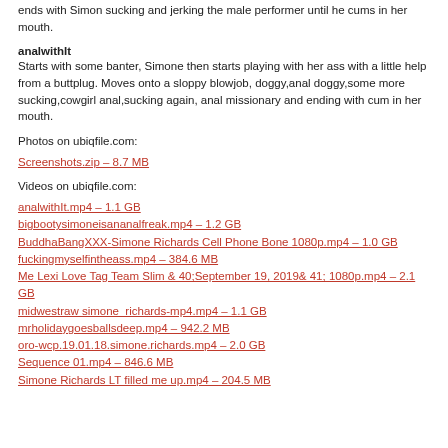ends with Simon sucking and jerking the male performer until he cums in her mouth.
analwithIt
Starts with some banter, Simone then starts playing with her ass with a little help from a buttplug. Moves onto a sloppy blowjob, doggy,anal doggy,some more sucking,cowgirl anal,sucking again, anal missionary and ending with cum in her mouth.
Photos on ubiqfile.com:
Screenshots.zip – 8.7 MB
Videos on ubiqfile.com:
analwithIt.mp4 – 1.1 GB
bigbootysimoneisananalfreak.mp4 – 1.2 GB
BuddhaBangXXX-Simone Richards Cell Phone Bone 1080p.mp4 – 1.0 GB
fuckingmyselfintheass.mp4 – 384.6 MB
Me Lexi Love Tag Team Slim & 40;September 19, 2019& 41; 1080p.mp4 – 2.1 GB
midwestraw simone_richards-mp4.mp4 – 1.1 GB
mrholidaygoesballsdeep.mp4 – 942.2 MB
oro-wcp.19.01.18.simone.richards.mp4 – 2.0 GB
Sequence 01.mp4 – 846.6 MB
Simone Richards LT filled me up.mp4 – 204.5 MB